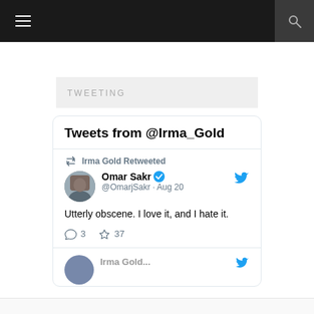TWEETING
Tweets from @Irma_Gold
Irma Gold Retweeted
Omar Sakr @OmarjSakr · Aug 20
Utterly obscene. I love it, and I hate it.
3  37
[Figure (screenshot): Partially visible second tweet at bottom of widget]